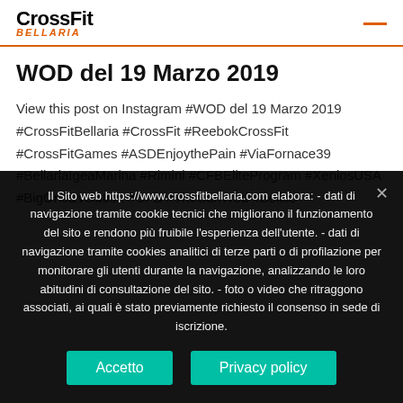CrossFit BELLARIA
WOD del 19 Marzo 2019
View this post on Instagram #WOD del 19 Marzo 2019 #CrossFitBellaria #CrossFit #ReebokCrossFit #CrossFitGames #ASDEnjoythePain #ViaFornace39 #BellariaIgeaMarina #Rimini #CFBEliteProgram #XeniosUSA #BigOneEvolution #CFB #TheSunWod #Bollito
Il Sito web https://www.crossfitbellaria.com elabora: - dati di navigazione tramite cookie tecnici che migliorano il funzionamento del sito e rendono più fruibile l'esperienza dell'utente. - dati di navigazione tramite cookies analitici di terze parti o di profilazione per monitorare gli utenti durante la navigazione, analizzando le loro abitudini di consultazione del sito. - foto o video che ritraggono associati, ai quali è stato previamente richiesto il consenso in sede di iscrizione.
Accetto | Privacy policy